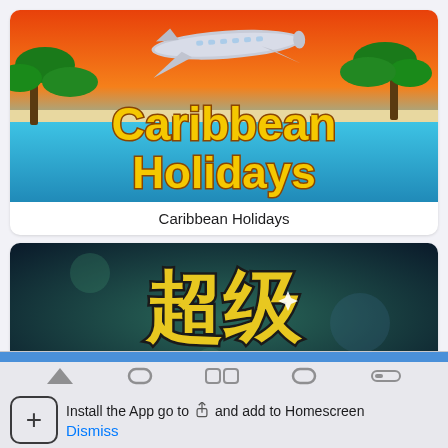[Figure (screenshot): Caribbean Holidays game app icon/banner showing a tropical island scene with a plane, palm trees, orange sky, and turquoise water. Large yellow text reads 'Caribbean Holidays'.]
Caribbean Holidays
[Figure (screenshot): Chaoji (超级) game app banner with teal/dark blurred background, large Chinese characters '超级' in gold with black outline, and green text 'CHAOJI' below.]
Install the App go to  and add to Homescreen
Dismiss